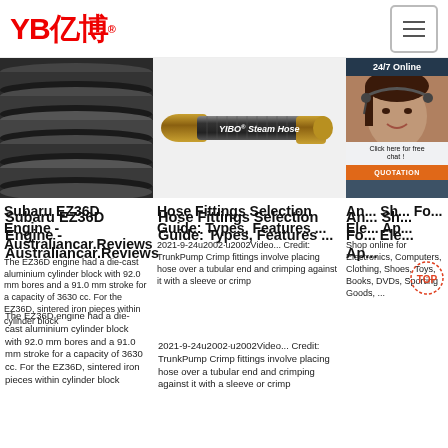[Figure (logo): YB亿博 logo in red with registered trademark symbol]
[Figure (photo): Dark metal pipes stacked together]
[Figure (photo): YIBO Steam Hose product image on light background]
[Figure (photo): 24/7 Online customer support advisor with headset, click here for free chat button and QUOTATION button]
Subaru EZ36D Engine - Australiancar.Reviews
The EZ36D engine had a die-cast aluminium cylinder block with 92.0 mm bores and a 91.0 mm stroke for a capacity of 3630 cc. For the EZ36D, sintered iron pieces within cylinder block
Hose Fittings Selection Guide: Types, Features ...
2021-9-24u2002·u2002Video... Credit: TrunkPump Crimp fittings involve placing hose over a tubular end and crimping against it with a sleeve or crimp
Shop online for Electronics, Computers, Clothing, Shoes, Toys, Books, DVDs, Sporting Goods, ...